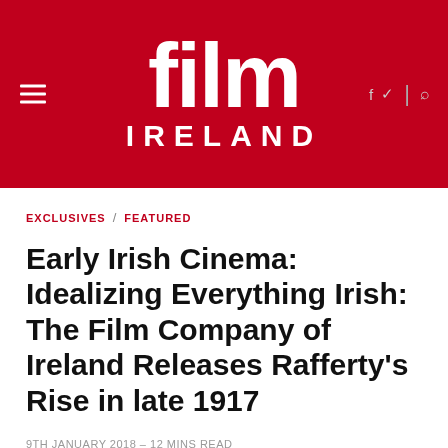film IRELAND
EXCLUSIVES / FEATURED
Early Irish Cinema: Idealizing Everything Irish: The Film Company of Ireland Releases Rafferty's Rise in late 1917
9TH JANUARY 2018 - 12 MINS READ